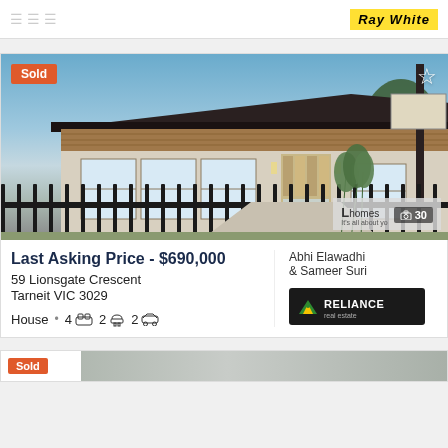Ray White
[Figure (photo): Front exterior of a modern single-storey house at 59 Lionsgate Crescent Tarneit VIC 3029. Clear blue sky background, dark tiled roof, rendered walls, timber-accented facade, black metal fence in foreground, landscaping with bamboo/plants. Sold badge top-left, star icon top-right, Lhomes watermark bottom-right, photo count showing 30 images.]
Last Asking Price - $690,000
59 Lionsgate Crescent
Tarneit VIC 3029
House • 4 [bed] 2 [bath] 2 [car]
Abhi Elawadhi & Sameer Suri
[Figure (logo): Reliance Real Estate logo — dark background with green and yellow mountain/arrow icon, white text RELIANCE, grey subtext real estate]
[Figure (photo): Partial view of another sold property listing below — grey exterior visible with Sold badge]